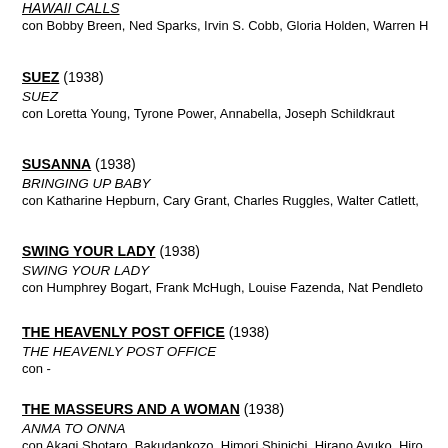HAWAII CALLS
con Bobby Breen, Ned Sparks, Irvin S. Cobb, Gloria Holden, Warren H
SUEZ (1938)
SUEZ
con Loretta Young, Tyrone Power, Annabella, Joseph Schildkraut
SUSANNA (1938)
BRINGING UP BABY
con Katharine Hepburn, Cary Grant, Charles Ruggles, Walter Catlett,
SWING YOUR LADY (1938)
SWING YOUR LADY
con Humphrey Bogart, Frank McHugh, Louise Fazenda, Nat Pendleto
THE HEAVENLY POST OFFICE (1938)
THE HEAVENLY POST OFFICE
con -
THE MASSEURS AND A WOMAN (1938)
ANMA TO ONNA
con Akagi Shotaro, Bakudankozo, Himori Shinichi, Hirano Ayuko, Hiro
UN BANDITO IN VACANZA (1938)
A SLIGHT CASE OF MURDER